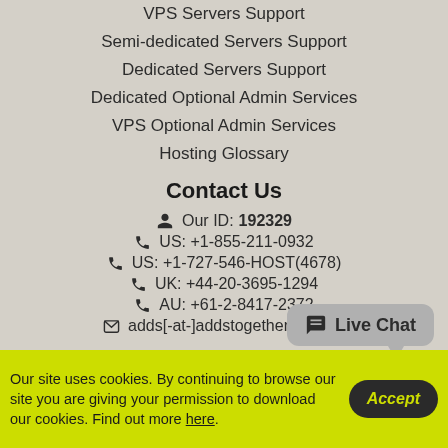VPS Servers Support
Semi-dedicated Servers Support
Dedicated Servers Support
Dedicated Optional Admin Services
VPS Optional Admin Services
Hosting Glossary
Contact Us
Our ID: 192329
US: +1-855-211-0932
US: +1-727-546-HOST(4678)
UK: +44-20-3695-1294
AU: +61-2-8417-2372
adds[-at-]addstogether.com.au
Live Chat
Our site uses cookies. By continuing to browse our site you are giving your permission to download our cookies. Find out more here.